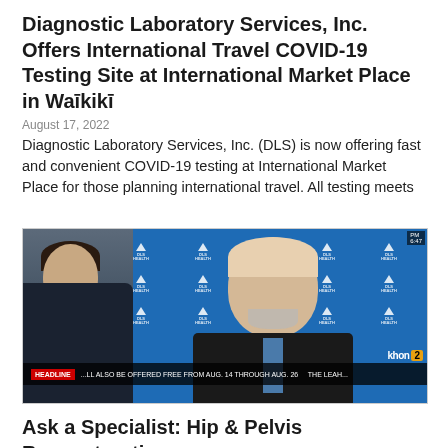Diagnostic Laboratory Services, Inc. Offers International Travel COVID-19 Testing Site at International Market Place in Waikiki
August 17, 2022
Diagnostic Laboratory Services, Inc. (DLS) is now offering fast and convenient COVID-19 testing at International Market Place for those planning international travel. All testing meets
[Figure (photo): TV news broadcast screenshot showing two men: a news anchor on the left in a dark suit, and a speaker/interviewee on the right, a bald older man with a gray beard and dark suit with a blue tie, shown on a screen with a branded blue backdrop featuring repeated logo marks. The KHON2 news bug is visible in the lower right.]
Ask a Specialist: Hip & Pelvis Reconstruction with Dr. Michael Delli...